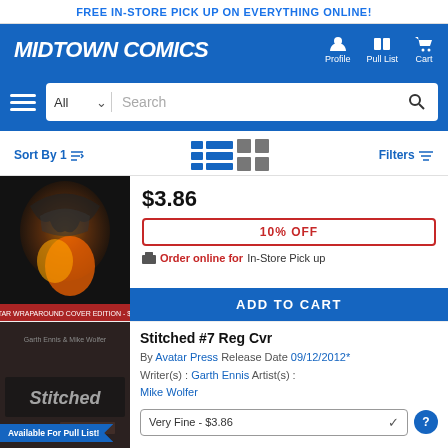FREE IN-STORE PICK UP ON EVERYTHING ONLINE!
[Figure (logo): Midtown Comics logo with navigation icons for Profile, Pull List, Cart]
[Figure (screenshot): Search bar with All dropdown and search field]
Sort By 1↑   Filters
[Figure (photo): Comic book cover - dark creature with orange flame design (Avatar wraparound cover)]
$3.86
10% OFF
Order online for In-Store Pick up
ADD TO CART
Available For Pull List!
[Figure (photo): Stitched comic book cover by Garth Ennis and Mike Wolfer, Avatar Press]
Stitched #7 Reg Cvr
By Avatar Press Release Date 09/12/2012* Writer(s) : Garth Ennis Artist(s) : Mike Wolfer
Very Fine - $3.86